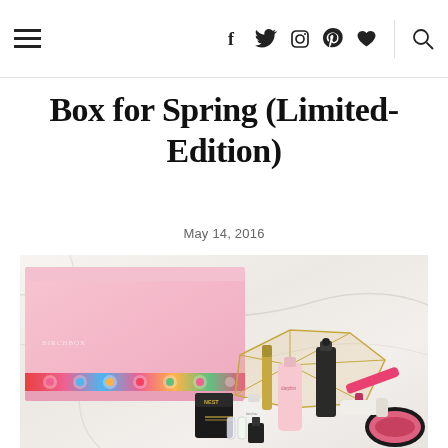Navigation header with hamburger menu, social icons (Facebook, Twitter, Instagram, Pinterest, Heart), and search icon
Box for Spring (Limited-Edition)
May 14, 2016
[Figure (photo): Pink gift box with colorful floral stripe pattern on marble surface, next to a gold geometric tray displaying various beauty and skincare products including candles, serums, lipstick, mascara, and other cosmetic items]